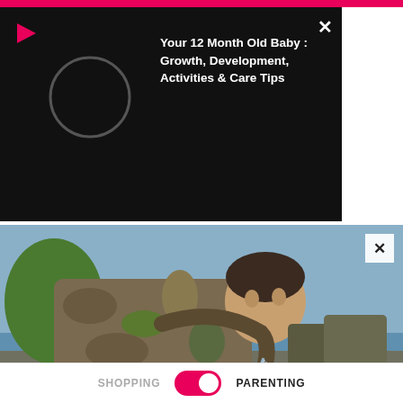[Figure (screenshot): Pink top bar of a news/content app]
[Figure (screenshot): Black video overlay panel showing a video thumbnail and title 'Your 12 Month Old Baby : Growth, Development, Activities & Care Tips' with a play icon and close button]
Your 12 Month Old Baby : Growth, Development, Activities & Care Tips
[Figure (photo): A soldier in camouflage uniform drinking water from a hose outdoors, with military vehicles and water in the background]
Congress Passes Billions for Camp Lejeune Families
UnitedClaimsBureau
ADVERTISEMENT
[Figure (photo): Advertisement banner strip with pink/rose gradient background and partial face visible]
SHOPPING
PARENTING